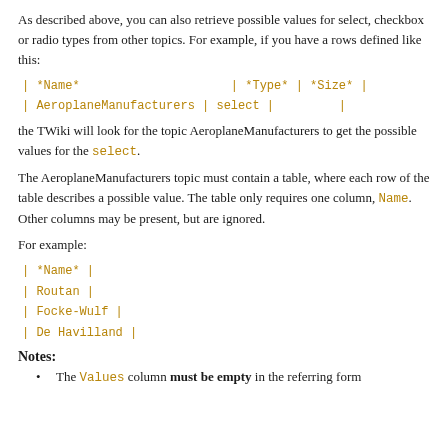As described above, you can also retrieve possible values for select, checkbox or radio types from other topics. For example, if you have a rows defined like this:
| *Name*                  | *Type* | *Size* |
| AeroplaneManufacturers | select |         |
the TWiki will look for the topic AeroplaneManufacturers to get the possible values for the select.
The AeroplaneManufacturers topic must contain a table, where each row of the table describes a possible value. The table only requires one column, Name. Other columns may be present, but are ignored.
For example:
| *Name* |
| Routan |
| Focke-Wulf |
| De Havilland |
Notes:
The Values column must be empty in the referring form